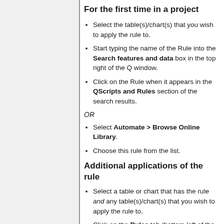For the first time in a project
Select the table(s)/chart(s) that you wish to apply the rule to.
Start typing the name of the Rule into the Search features and data box in the top right of the Q window.
Click on the Rule when it appears in the QScripts and Rules section of the search results.
OR
Select Automate > Browse Online Library.
Choose this rule from the list.
Additional applications of the rule
Select a table or chart that has the rule and any table(s)/chart(s) that you wish to apply the rule to.
Click on the Rules tab (bottom-left of the table/chart).